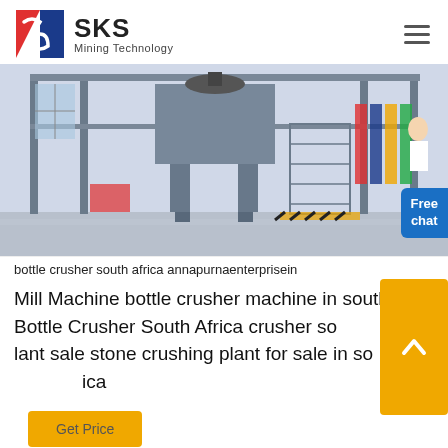SKS Mining Technology
[Figure (photo): Industrial mining/crushing machinery inside a large factory hall with steel structure, staircases, and colorful flags in background. A 'Free chat' badge is overlaid in bottom right.]
bottle crusher south africa annapurnaenterprisein
Mill Machine bottle crusher machine in south Bottle Crusher South Africa crusher south africa plant sale stone crushing plant for sale in south africa
Get Price